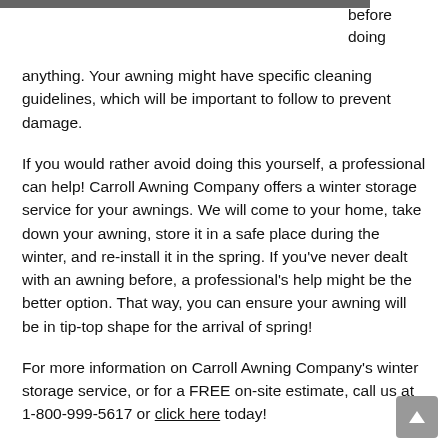[Figure (photo): Partial image strip visible at the top of the page]
before doing anything. Your awning might have specific cleaning guidelines, which will be important to follow to prevent damage.
If you would rather avoid doing this yourself, a professional can help! Carroll Awning Company offers a winter storage service for your awnings. We will come to your home, take down your awning, store it in a safe place during the winter, and re-install it in the spring. If you've never dealt with an awning before, a professional's help might be the better option. That way, you can ensure your awning will be in tip-top shape for the arrival of spring!
For more information on Carroll Awning Company's winter storage service, or for a FREE on-site estimate, call us at 1-800-999-5617 or click here today!